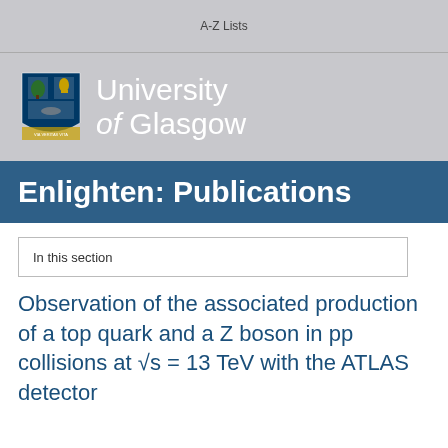A-Z Lists
[Figure (logo): University of Glasgow logo with shield crest and text 'University of Glasgow']
Enlighten: Publications
In this section
Observation of the associated production of a top quark and a Z boson in pp collisions at √s = 13 TeV with the ATLAS detector